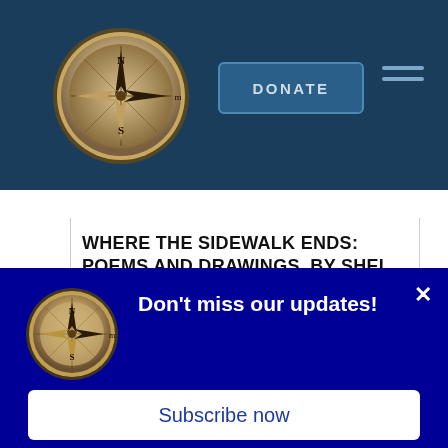DONATE
[Figure (logo): Compass logo in dark blue navigation header]
WHERE THE SIDEWALK ENDS: POEMS AND DRAWINGS, BY SHEL SILVERSTEIN (AUTHOR, ILLUSTRATOR)
“Shel Silverstein, the New York Times bestselling author of The Giving Tree, A Light in the Attic, Falling Up, and Every Thing On It, has created a poetry collection that is
[Figure (logo): Compass logo in popup notification]
Don't miss our updates!
Subscribe now